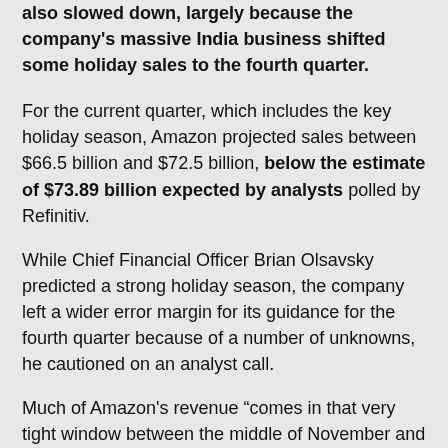also slowed down, largely because the company's massive India business shifted some holiday sales to the fourth quarter.
For the current quarter, which includes the key holiday season, Amazon projected sales between $66.5 billion and $72.5 billion, below the estimate of $73.89 billion expected by analysts polled by Refinitiv.
While Chief Financial Officer Brian Olsavsky predicted a strong holiday season, the company left a wider error margin for its guidance for the fourth quarter because of a number of unknowns, he cautioned on an analyst call.
Much of Amazon's revenue "comes in that very tight window between the middle of November and the end of the year," Mr. Olsavsky said. "It's always a very difficult period for us to estimate."
Heading into the fourth quarter, a couple of factors are